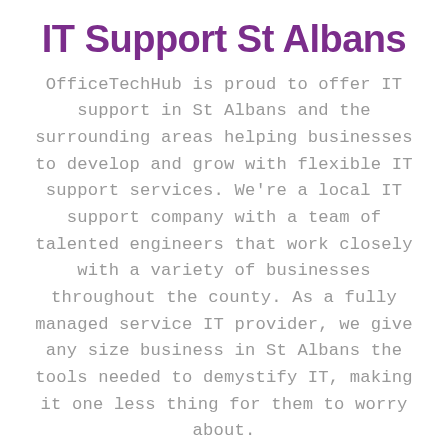IT Support St Albans
OfficeTechHub is proud to offer IT support in St Albans and the surrounding areas helping businesses to develop and grow with flexible IT support services. We're a local IT support company with a team of talented engineers that work closely with a variety of businesses throughout the county. As a fully managed service IT provider, we give any size business in St Albans the tools needed to demystify IT, making it one less thing for them to worry about.
Get in touch →